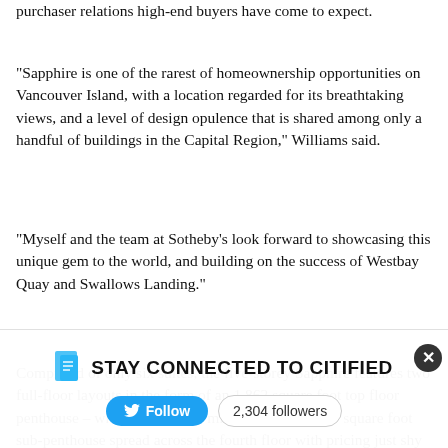purchaser relations high-end buyers have come to expect.
“Sapphire is one of the rarest of homeownership opportunities on Vancouver Island, with a location regarded for its breathtaking views, and a level of design opulence that is shared among only a handful of buildings in the Capital Region,” Williams said.
“Myself and the team at Sotheby’s look forward to showcasing this unique gem to the world, and building on the success of Westbay Quay and Swallows Landing.”
Comprised of only six suites, the five-storey Sapphire features two full-floor layouts in the form of an 1,862 square foot top floor penthouse – which sold for $3 million – and a 3,500 square foot sub-penthouse spread across the fourth floor with pricing just shy of $4.5 million.
Levels two and three are split between a duo of two-bedroom homes sized from 1,703 to 2,217 square feet
[Figure (infographic): Stay Connected to Citified banner with Twitter Follow button showing 2,304 followers]